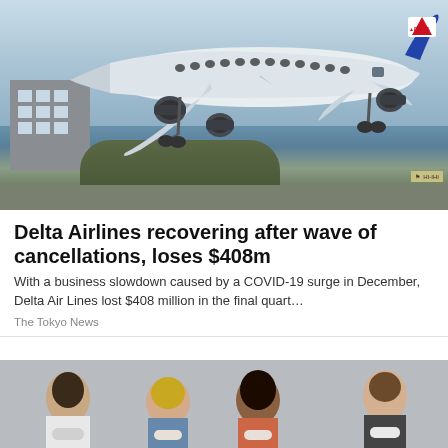[Figure (photo): Delta Airlines plane landing, with a building and trees in background]
Delta Airlines recovering after wave of cancellations, loses $408m
With a business slowdown caused by a COVID-19 surge in December, Delta Air Lines lost $408 million in the final quart…
The Tokyo News
[Figure (photo): Group of people wearing face masks, partially visible at bottom of page]